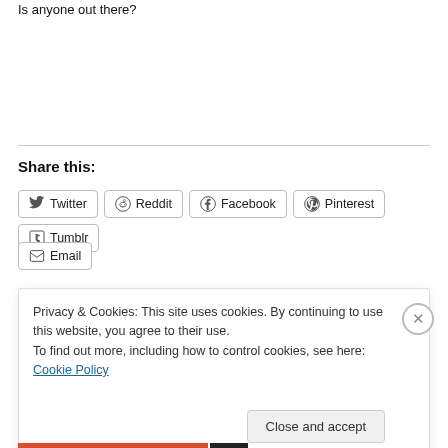Is anyone out there?
Share this:
Twitter Reddit Facebook Pinterest Tumblr Email
Privacy & Cookies: This site uses cookies. By continuing to use this website, you agree to their use.
To find out more, including how to control cookies, see here: Cookie Policy
Close and accept